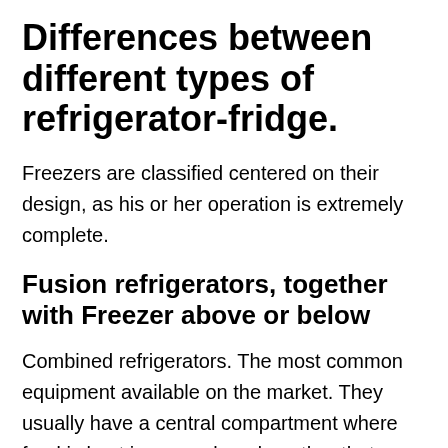Differences between different types of refrigerator-fridge.
Freezers are classified centered on their design, as his or her operation is extremely complete.
Fusion refrigerators, together with Freezer above or below
Combined refrigerators. The most common equipment available on the market. They usually have a central compartment where food is kept in general, and another that serves